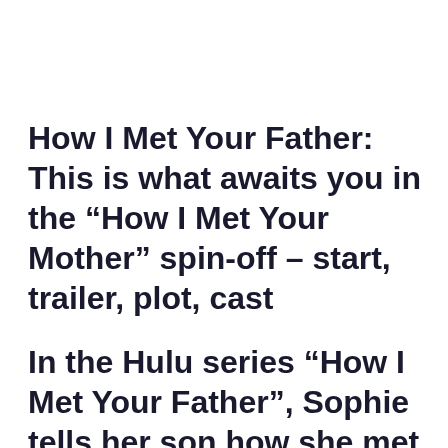How I Met Your Father: This is what awaits you in the “How I Met Your Mother” spin-off – start, trailer, plot, cast
In the Hulu series “How I Met Your Father”, Sophie tells her son how she met his father. You can find out everything